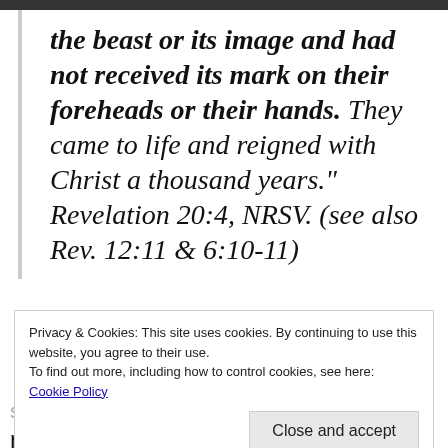the beast or its image and had not received its mark on their foreheads or their hands. They came to life and reigned with Christ a thousand years." Revelation 20:4, NRSV. (see also Rev. 12:11 & 6:10-11)
Privacy & Cookies: This site uses cookies. By continuing to use this website, you agree to their use.
To find out more, including how to control cookies, see here:
Cookie Policy
Close and accept
spiritual and symbolic testimonies which reveal divine truth about God's sovereign